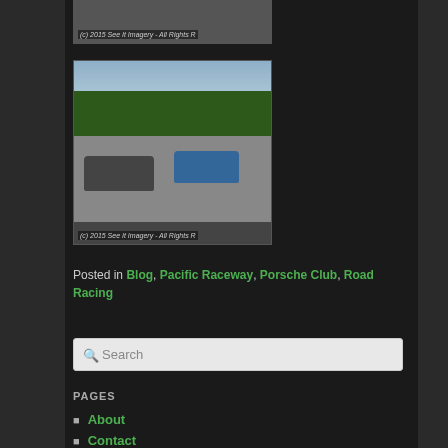[Figure (photo): Partial top image with watermark text '(c) 2015 See It Imagery - All Rights R']
[Figure (photo): Racing photo showing two cars on a track at Pacific Raceway with trees and mountains in background. Watermark: '(c) 2015 See It Imagery - All Rights R']
Posted in Blog, Pacific Raceway, Porsche Club, Road Racing
Search
PAGES
About
Contact